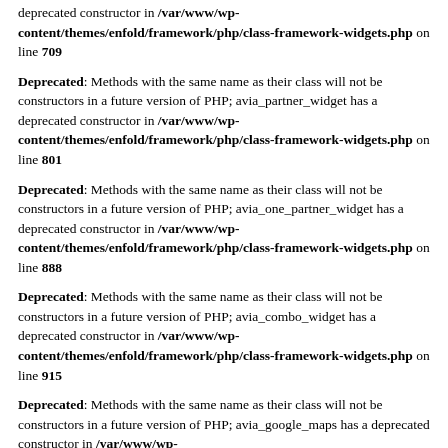deprecated constructor in /var/www/wp-content/themes/enfold/framework/php/class-framework-widgets.php on line 709
Deprecated: Methods with the same name as their class will not be constructors in a future version of PHP; avia_partner_widget has a deprecated constructor in /var/www/wp-content/themes/enfold/framework/php/class-framework-widgets.php on line 801
Deprecated: Methods with the same name as their class will not be constructors in a future version of PHP; avia_one_partner_widget has a deprecated constructor in /var/www/wp-content/themes/enfold/framework/php/class-framework-widgets.php on line 888
Deprecated: Methods with the same name as their class will not be constructors in a future version of PHP; avia_combo_widget has a deprecated constructor in /var/www/wp-content/themes/enfold/framework/php/class-framework-widgets.php on line 915
Deprecated: Methods with the same name as their class will not be constructors in a future version of PHP; avia_google_maps has a deprecated constructor in /var/www/wp-content/themes/enfold/framework/php/class-framework-widgets.php